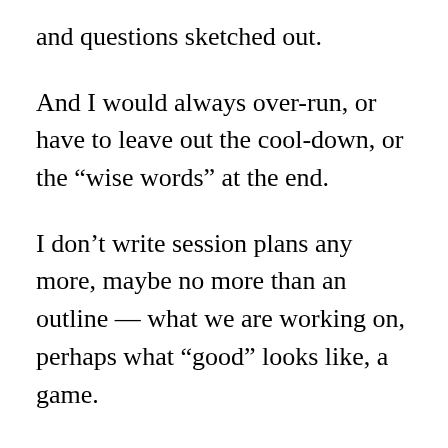and questions sketched out.
And I would always over-run, or have to leave out the cool-down, or the “wise words” at the end.
I don’t write session plans any more, maybe no more than an outline — what we are working on, perhaps what “good” looks like, a game.
I do have a sequence of activities in mind